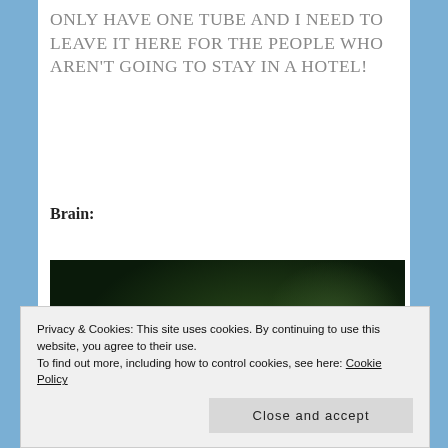ONLY HAVE ONE TUBE AND I NEED TO LEAVE IT HERE FOR THE PEOPLE WHO AREN'T GOING TO STAY IN A HOTEL!
Brain:
[Figure (photo): A dark photograph showing a blurry figure against a dark background with some green foliage visible]
Privacy & Cookies: This site uses cookies. By continuing to use this website, you agree to their use.
To find out more, including how to control cookies, see here: Cookie Policy